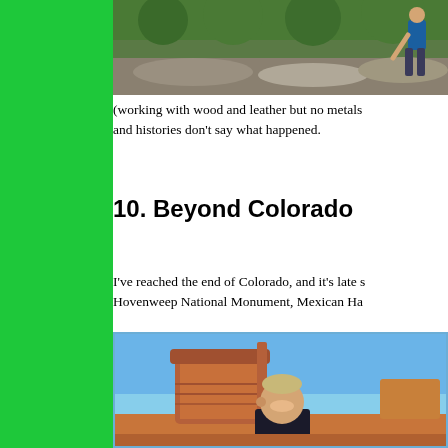[Figure (photo): Person crouching on rocky terrain outdoors with green vegetation in background]
(working with wood and leather but no metals and histories don't say what happened.
10. Beyond Colorado
I've reached the end of Colorado, and it's late s Hovenweep National Monument, Mexican Ha
[Figure (photo): Man smiling in front of Monument Valley buttes under blue sky, red rock desert landscape]